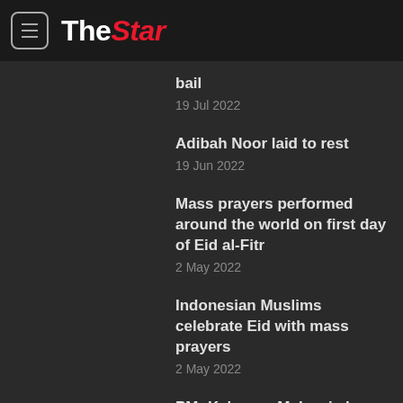The Star
bail
19 Jul 2022
Adibah Noor laid to rest
19 Jun 2022
Mass prayers performed around the world on first day of Eid al-Fitr
2 May 2022
Indonesian Muslims celebrate Eid with mass prayers
2 May 2022
PM: Keluarga Malaysia has proven its strength in dealing with Covid-19
1 May 2022
Muslims around the world get ready